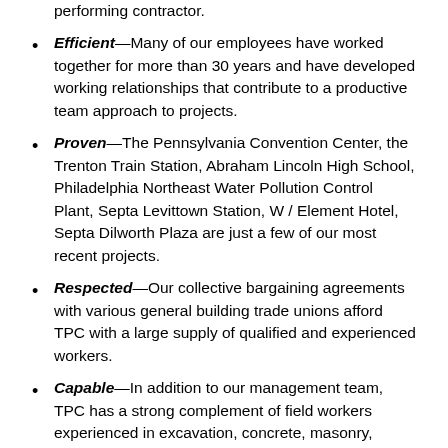performing contractor.
Efficient—Many of our employees have worked together for more than 30 years and have developed working relationships that contribute to a productive team approach to projects.
Proven—The Pennsylvania Convention Center, the Trenton Train Station, Abraham Lincoln High School, Philadelphia Northeast Water Pollution Control Plant, Septa Levittown Station, W / Element Hotel, Septa Dilworth Plaza are just a few of our most recent projects.
Respected—Our collective bargaining agreements with various general building trade unions afford TPC with a large supply of qualified and experienced workers.
Capable—In addition to our management team, TPC has a strong complement of field workers experienced in excavation, concrete, masonry, carpentry, and drywall.
Financially Stable—Because TPC has demonstrated 70